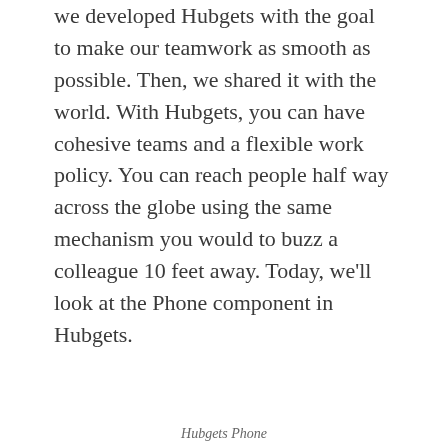we developed Hubgets with the goal to make our teamwork as smooth as possible. Then, we shared it with the world. With Hubgets, you can have cohesive teams and a flexible work policy. You can reach people half way across the globe using the same mechanism you would to buzz a colleague 10 feet away. Today, we'll look at the Phone component in Hubgets.
Hubgets Phone